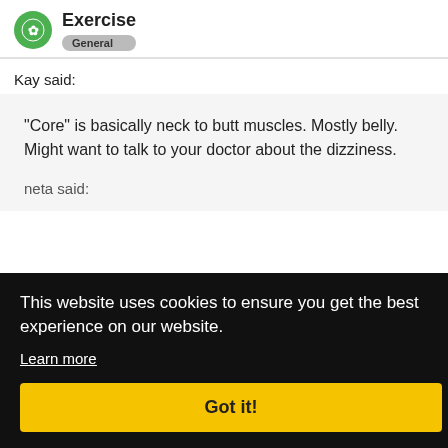Exercise General
Kay said:
"Core" is basically neck to butt muscles. Mostly belly. Might want to talk to your doctor about the dizziness.
neta said:
This website uses cookies to ensure you get the best experience on our website.
Learn more
Got it!